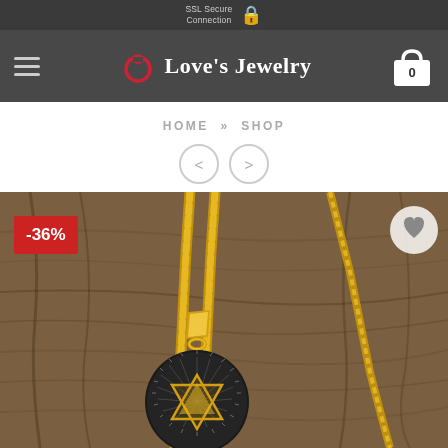SSL Secure Connection
[Figure (logo): Love's Jewelry navigation bar with hamburger menu, ring logo, brand name, and shopping cart icon showing 0 items]
HOME » SHOP
[Figure (photo): Gold chain necklace with circular medallion pendant featuring Star of David / Illuminati eye design on wooden background, showing -36% discount badge and wishlist heart button]